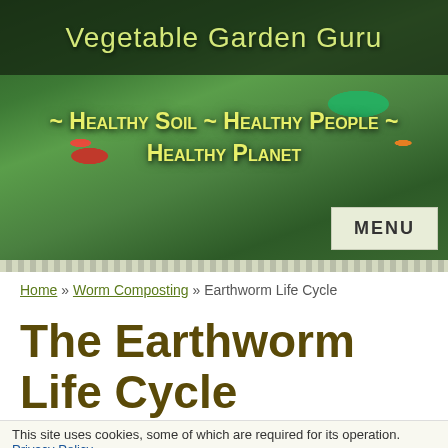[Figure (screenshot): Vegetable Garden Guru website header banner with green garden background, site title, tagline, and menu button]
Home » Worm Composting » Earthworm Life Cycle
The Earthworm Life Cycle
This site uses cookies, some of which are required for its operation. Privacy Policy...